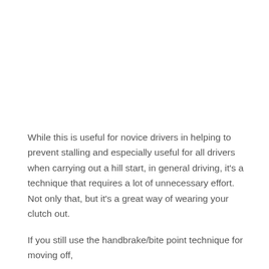While this is useful for novice drivers in helping to prevent stalling and especially useful for all drivers when carrying out a hill start, in general driving, it's a technique that requires a lot of unnecessary effort. Not only that, but it's a great way of wearing your clutch out.
If you still use the handbrake/bite point technique for moving off,